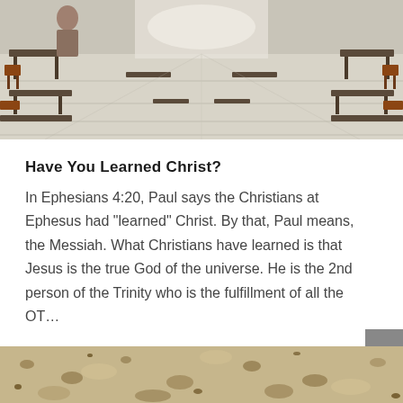[Figure (photo): Interior of a school cafeteria or classroom with rows of chairs and tables on a tiled floor, perspective view down a central aisle.]
Have You Learned Christ?
In Ephesians 4:20, Paul says the Christians at Ephesus had "learned" Christ. By that, Paul means, the Messiah. What Christians have learned is that Jesus is the true God of the universe. He is the 2nd person of the Trinity who is the fulfillment of all the OT…
[Figure (photo): Close-up photo of sandy or gravelly ground texture, tan and beige tones.]